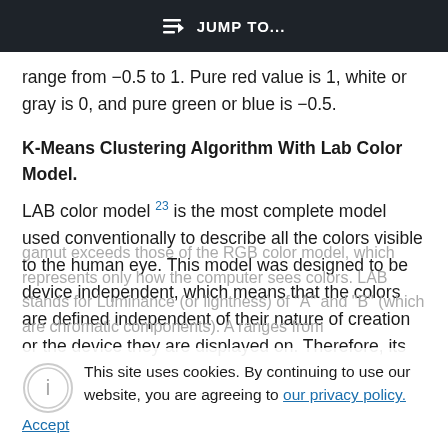JUMP TO...
range from −0.5 to 1. Pure red value is 1, white or gray is 0, and pure green or blue is −0.5.
K-Means Clustering Algorithm With Lab Color Model.
LAB color model 23 is the most complete model used conventionally to describe all the colors visible to the human eye. This model was designed to be device independent, which means that the colors are defined independent of their nature of creation or the device they are displayed on. Therefore, its
gamut exceeds those of the RGB color model, which represents only how the computer sees colors. LAB stands for Luminance (or lightness) of "A" and "B" (which are chromatic components). A ranges from
This site uses cookies. By continuing to use our website, you are agreeing to our privacy policy.
Accept